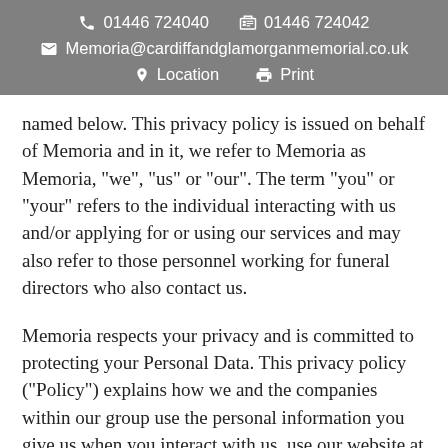📞 01446 724040  📠 01446 724042  ✉ Memoria@cardiffandglamorganmemorial.co.uk  📍 Location  🖨 Print
named below. This privacy policy is issued on behalf of Memoria and in it, we refer to Memoria as Memoria, "we", "us" or "our". The term "you" or "your" refers to the individual interacting with us and/or applying for or using our services and may also refer to those personnel working for funeral directors who also contact us.
Memoria respects your privacy and is committed to protecting your Personal Data. This privacy policy ("Policy") explains how we and the companies within our group use the personal information you give us when you interact with us, use our website at www.memoria.org.uk, or any subdomain or any such